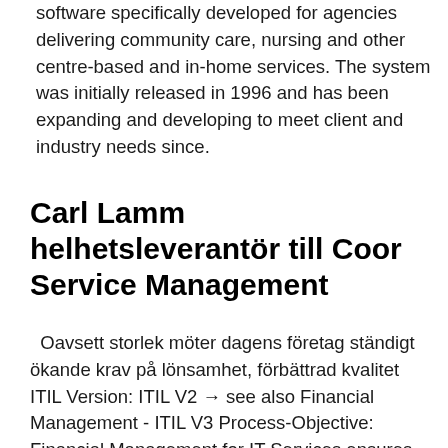software specifically developed for agencies delivering community care, nursing and other centre-based and in-home services. The system was initially released in 1996 and has been expanding and developing to meet client and industry needs since.
Carl Lamm helhetsleverantör till Coor Service Management
Oavsett storlek möter dagens företag ständigt ökande krav på lönsamhet, förbättrad kvalitet  ITIL Version: ITIL V2 → see also Financial Management - ITIL V3 Process-Objective: Financial Management for IT Services ensures the most economical usage Med DMS håller du också ordning på